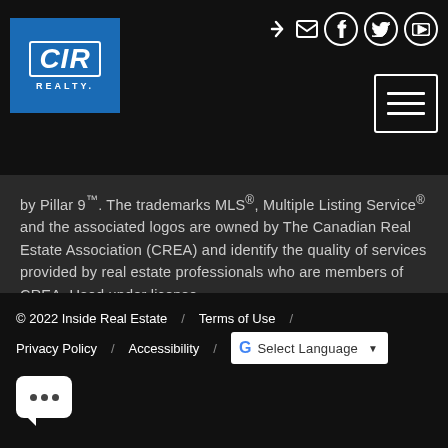[Figure (logo): CIR Realty logo - blue square with white CIR text in italic serif and REALTY text below]
[Figure (other): Social media icons: login arrow, email, Facebook, Twitter, YouTube - white on dark background]
[Figure (other): Hamburger menu icon - white lines in white bordered square]
by Pillar 9™. The trademarks MLS®, Multiple Listing Service® and the associated logos are owned by The Canadian Real Estate Association (CREA) and identify the quality of services provided by real estate professionals who are members of CREA. Used under license.
© 2022 Inside Real Estate  /  Terms of Use  /  Privacy Policy  /  Accessibility  /  Select Language
[Figure (other): Chat bubble icon with three dots]